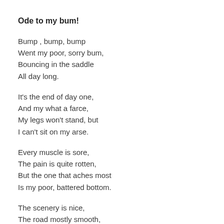Ode to my bum!
Bump , bump, bump
Went my poor, sorry bum,
Bouncing in the saddle
All day long.
It's the end of day one,
And my what a farce,
My legs won't stand, but
I can't sit on my arse.
Every muscle is sore,
The pain is quite rotten,
But the one that aches most
Is my poor, battered bottom.
The scenery is nice,
The road mostly smooth,
But the occasional rut